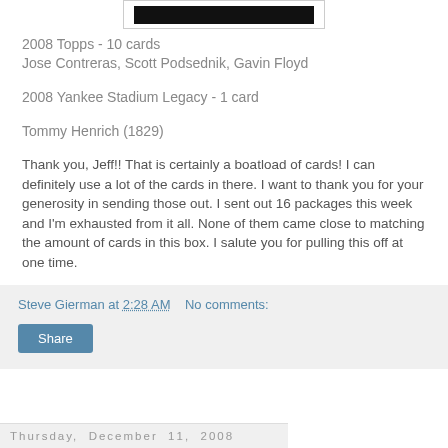[Figure (other): Black image bar at top of page]
2008 Topps - 10 cards
Jose Contreras, Scott Podsednik, Gavin Floyd
2008 Yankee Stadium Legacy - 1 card
Tommy Henrich (1829)
Thank you, Jeff!! That is certainly a boatload of cards! I can definitely use a lot of the cards in there. I want to thank you for your generosity in sending those out. I sent out 16 packages this week and I'm exhausted from it all. None of them came close to matching the amount of cards in this box. I salute you for pulling this off at one time.
Steve Gierman at 2:28 AM   No comments:
Share
Thursday, December 11, 2008